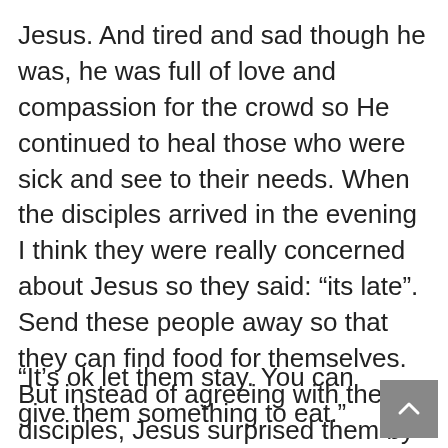Jesus. And tired and sad though he was, he was full of love and compassion for the crowd so He continued to heal those who were sick and see to their needs. When the disciples arrived in the evening I think they were really concerned about Jesus so they said: “its late”. Send these people away so that they can find food for themselves. But instead of agreeing with the disciples, Jesus surprised them by saying quietly,
“It’s ok let them stay. You can give them something to eat.”